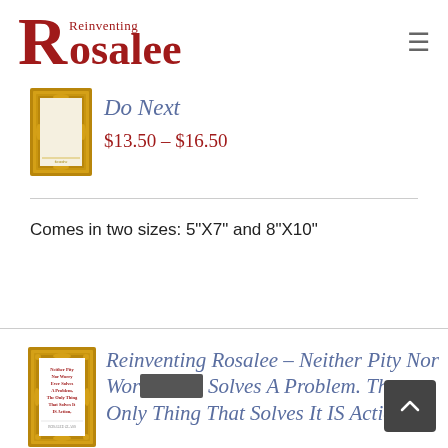Reinventing Rosalee
[Figure (illustration): Gold ornate picture frame thumbnail for product listing]
Do Next
$13.50 – $16.50
Comes in two sizes: 5"X7" and 8"X10"
[Figure (illustration): Gold ornate picture frame with text: Neither Pity Nor Worry Ever Solves A Problem, The Only Thing That Solves It IS Action. ROSALEE GLASS]
Reinventing Rosalee – Neither Pity Nor Worry Ever Solves A Problem. The Only Thing That Solves It IS Action